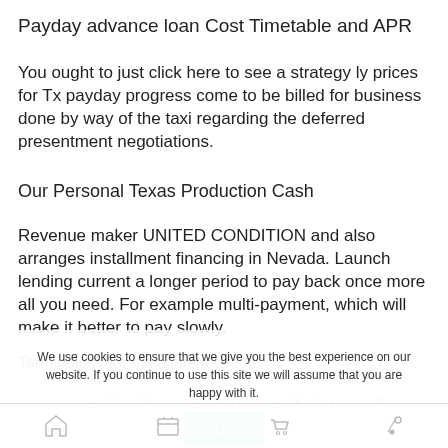Payday advance loan Cost Timetable and APR
You ought to just click here to see a strategy ly prices for Tx payday progress come to be billed for business done by way of the taxi regarding the deferred presentment negotiations.
Our Personal Texas Production Cash
Revenue maker UNITED CONDITION and also arranges installment financing in Nevada. Launch lending current a longer period to pay back once more all you need. For example multi-payment, which will make it better to pay slowly.
Terminology for Installment Credit
a re... will assume that normally between $o... $50... the mercy of
We use cookies to ensure that we give you the best experience on our website. If you continue to use this site we will assume that you are happy with it.